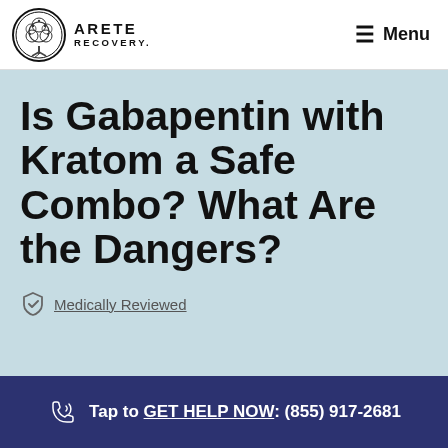ARETE RECOVERY — Menu
Is Gabapentin with Kratom a Safe Combo? What Are the Dangers?
Medically Reviewed
Tap to GET HELP NOW: (855) 917-2681